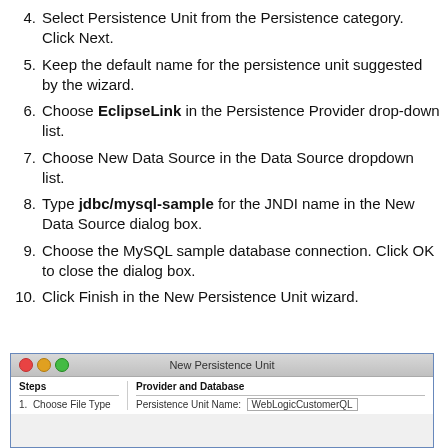4. Select Persistence Unit from the Persistence category. Click Next.
5. Keep the default name for the persistence unit suggested by the wizard.
6. Choose EclipseLink in the Persistence Provider drop-down list.
7. Choose New Data Source in the Data Source dropdown list.
8. Type jdbc/mysql-sample for the JNDI name in the New Data Source dialog box.
9. Choose the MySQL sample database connection. Click OK to close the dialog box.
10. Click Finish in the New Persistence Unit wizard.
[Figure (screenshot): Screenshot of the New Persistence Unit wizard dialog, showing window controls, title 'New Persistence Unit', Steps panel on the left with '1. Choose File Type' listed, and Provider and Database panel on the right showing 'Persistence Unit Name:' field with 'WebLogicCustomerQL' value.]